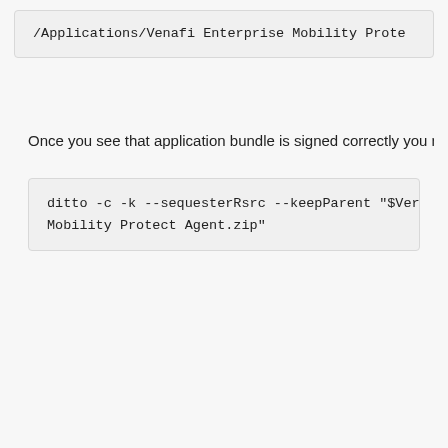/Applications/Venafi Enterprise Mobility Prote...
Once you see that application bundle is signed correctly you nee...
ditto -c -k --sequesterRsrc --keepParent "$Ver...
Mobility Protect Agent.zip"